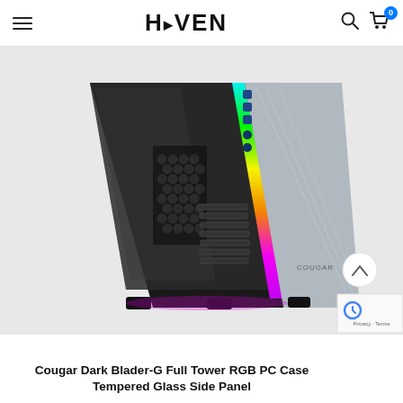HAVEN
[Figure (photo): Cougar Dark Blader-G Full Tower RGB PC Case with tempered glass side panel showing RGB lighting strip on front edge and honeycomb interior visible through glass side panel]
Cougar Dark Blader-G Full Tower RGB PC Case Tempered Glass Side Panel